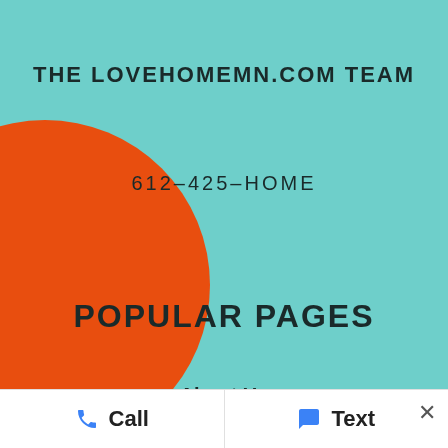THE LOVEHOMEMN.COM TEAM
612-425-HOME
[Figure (illustration): Large orange circle partially visible on the left side of the teal background]
POPULAR PAGES
About Us
Our Agents
Our Listings
Contact Us
Call   Text   ×